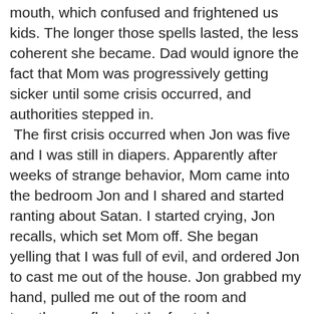mouth, which confused and frightened us kids. The longer those spells lasted, the less coherent she became. Dad would ignore the fact that Mom was progressively getting sicker until some crisis occurred, and authorities stepped in. The first crisis occurred when Jon was five and I was still in diapers. Apparently after weeks of strange behavior, Mom came into the bedroom Jon and I shared and started ranting about Satan. I started crying, Jon recalls, which set Mom off. She began yelling that I was full of evil, and ordered Jon to cast me out of the house. Jon grabbed my hand, pulled me out of the room and together we fled out the front door screaming in terror. A neighbor overheard the ruckus and called the police after leading us into her home and locking the door.
 Jon claims I cried the entire six weeks that Mom was in the hospital being diagnosed and treated for the onset of schizophrenia. Nana, who took care of us while Dad was at work, never disputed his account, but would spare my feelings by diplomatically adding, whenever Jon brought the subject up, that "both you poor kids were pretty upset."
 Family lore has it that I was a difficult child. I suffered from colic, apparently, and cried almost constantly during my first